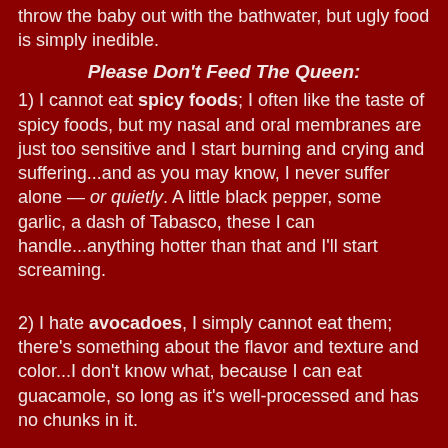throw the baby out with the bathwater, but ugly food is simply inedible.
Please Don't Feed The Queen:
1) I cannot eat spicy foods; I often like the taste of spicy foods, but my nasal and oral membranes are just too sensitive and I start burning and crying and suffering...and as you may know, I never suffer alone — or quietly. A little black pepper, some garlic, a dash of Tabasco, these I can handle...anything hotter than that and I'll start screaming.
2) I hate avocadoes, I simply cannot eat them; there's something about the flavor and texture and color...I don't know what, because I can eat guacamole, so long as it's well-processed and has no chunks in it.
3) I don't like celery, unless it is chopped really tiny and well-hidden inside of something else, or it's slathered in smoked salmon mousse (peanut butter or cream cheese aren't strong enough to disguise the celery-ness).